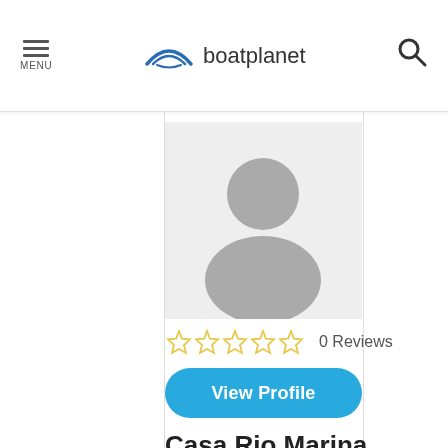MENU | boatplanet | search
[Figure (photo): Default user profile avatar placeholder — grey silhouette of a person on light grey background]
0 Reviews
View Profile
Casa Rio Marina